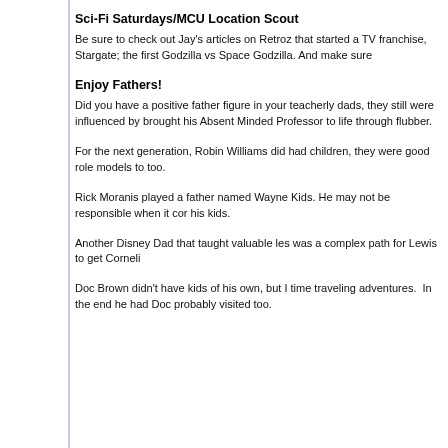Sci-Fi Saturdays/MCU Location Scout
Be sure to check out Jay's articles on Retroz that started a TV franchise, Stargate; the first Godzilla vs Space Godzilla. And make sure
Enjoy Fathers!
Did you have a positive father figure in your teacherly dads, they still were influenced by brought his Absent Minded Professor to life through flubber.
For the next generation, Robin Williams did had children, they were good role models to too.
Rick Moranis played a father named Wayne Kids. He may not be responsible when it cor his kids.
Another Disney Dad that taught valuable les was a complex path for Lewis to get Corneli
Doc Brown didn't have kids of his own, but I time traveling adventures.  In the end he had Doc probably visited too.